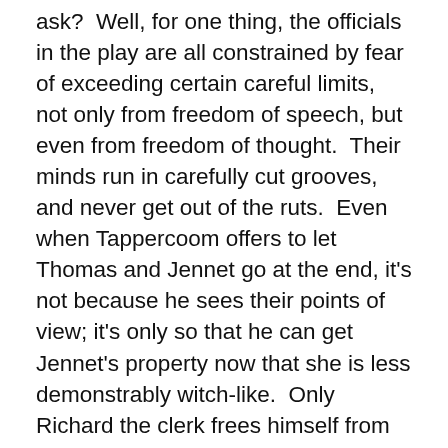ask?  Well, for one thing, the officials in the play are all constrained by fear of exceeding certain careful limits, not only from freedom of speech, but even from freedom of thought.  Their minds run in carefully cut grooves, and never get out of the ruts.  Even when Tappercoom offers to let Thomas and Jennet go at the end, it's not because he sees their points of view; it's only so that he can get Jennet's property now that she is less demonstrably witch-like.  Only Richard the clerk frees himself from his parish role enough to run away with the woman he loves from the loveless marriage which threatens her.  The brothers and Margaret their mother do not change from having the initial concerns they had at the beginning of the play.  They are a little freer in their speech, but they too do not have any real freedom of mind to go along with it, the brothers sunk in lechery and competition, the mother in her household